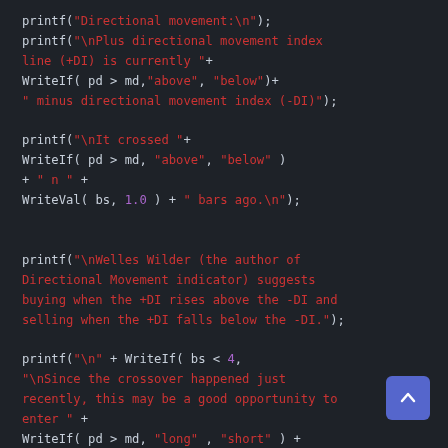[Figure (screenshot): Dark-themed code editor screenshot showing TradeStation EasyLanguage code with printf and WriteIf/WriteVal function calls related to Directional Movement indicator logic.]